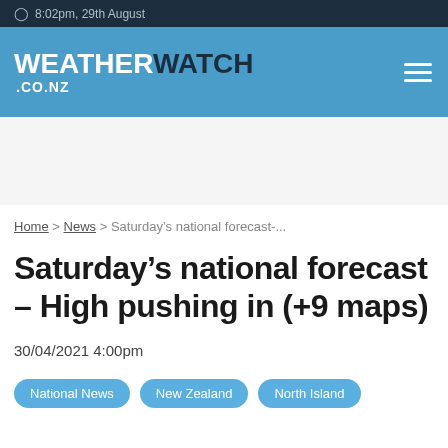8:02pm, 29th August
[Figure (logo): WeatherWatch.co.nz logo on blue header bar with hamburger menu icon]
Home > News > Saturday's national forecast-...
Saturday's national forecast – High pushing in (+9 maps)
30/04/2021 4:00pm
National News
New Zealand
North Island